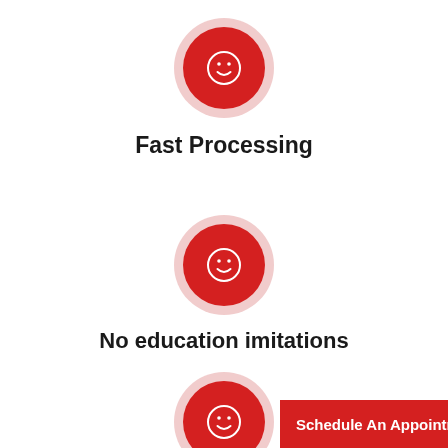[Figure (illustration): Red circle icon with white smiley face, representing Fast Processing feature]
Fast Processing
[Figure (illustration): Red circle icon with white smiley face, representing No education imitations feature]
No education imitations
[Figure (illustration): Red circle icon with white smiley face, partially visible at bottom]
Schedule An Appointment